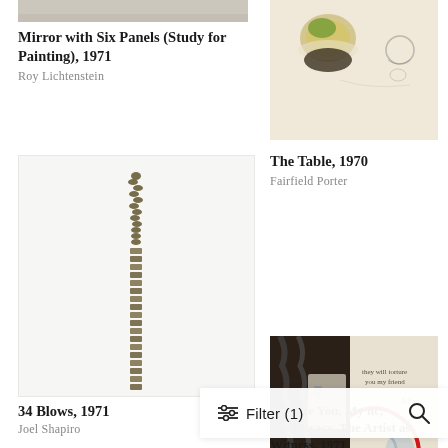[Figure (photo): Cropped bottom edge of a Lichtenstein artwork, light gray/beige tones]
Mirror with Six Panels (Study for Painting), 1971
Roy Lichtenstein
[Figure (photo): The Table, 1970 by Fairfield Porter — painting of a table with food items on beige background]
The Table, 1970
Fairfield Porter
[Figure (photo): 34 Blows, 1971 by Joel Shapiro — vertical spine-like sculpture against white background]
[Figure (photo): They Will Torture You, My Friend, Conspiracy, The Artist as Witness, 1971 by Leon Golub — mixed media collage with dark and light tones, red line, handwritten text]
34 Blows, 1971
Joel Shapiro
They Will Torture You, My Friend, Conspiracy, The Artist as Witness, 1971
Leon Golub